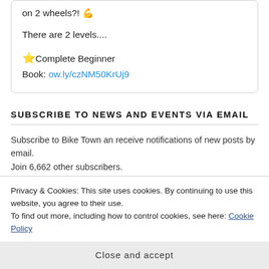on 2 wheels?! 💪
There are 2 levels....
⭐Complete Beginner
Book: ow.ly/czNM50KrUj9
SUBSCRIBE TO NEWS AND EVENTS VIA EMAIL
Subscribe to Bike Town an receive notifications of new posts by email. Join 6,662 other subscribers.
EMAIL ADDRESS
Privacy & Cookies: This site uses cookies. By continuing to use this website, you agree to their use.
To find out more, including how to control cookies, see here: Cookie Policy
Close and accept